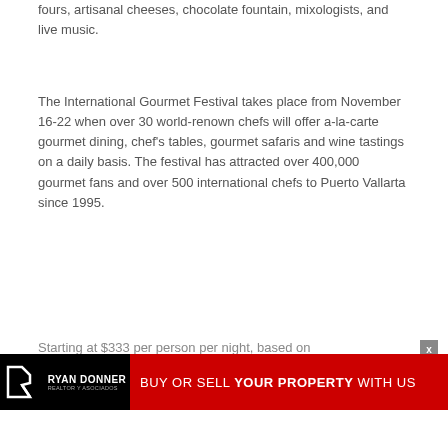fours, artisanal cheeses, chocolate fountain, mixologists, and live music.
The International Gourmet Festival takes place from November 16-22 when over 30 world-renown chefs will offer a-la-carte gourmet dining, chef's tables, gourmet safaris and wine tastings on a daily basis. The festival has attracted over 400,000 gourmet fans and over 500 international chefs to Puerto Vallarta since 1995.
Starting at $333 per person per night, based on
[Figure (infographic): Ryan Donner Realtor y Asociados advertisement banner. Black background on left with RD logo, red background on right with text BUY OR SELL YOUR PROPERTY WITH US]